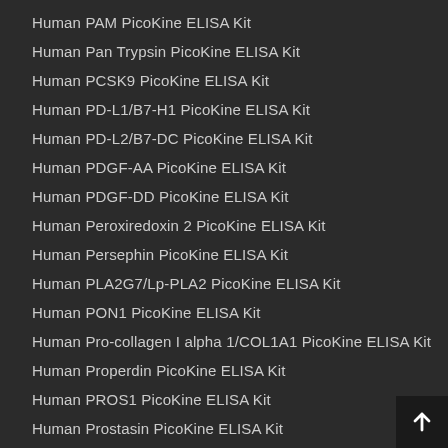Human PAM PicoKine ELISA Kit
Human Pan Trypsin PicoKine ELISA Kit
Human PCSK9 PicoKine ELISA Kit
Human PD-L1/B7-H1 PicoKine ELISA Kit
Human PD-L2/B7-DC PicoKine ELISA Kit
Human PDGF-AA PicoKine ELISA Kit
Human PDGF-DD PicoKine ELISA Kit
Human Peroxiredoxin 2 PicoKine ELISA Kit
Human Persephin PicoKine ELISA Kit
Human PLA2G7/Lp-PLA2 PicoKine ELISA Kit
Human PON1 PicoKine ELISA Kit
Human Pro-collagen I alpha 1/COL1A1 PicoKine ELISA Kit
Human Properdin PicoKine ELISA Kit
Human PROS1 PicoKine ELISA Kit
Human Prostasin PicoKine ELISA Kit
Human PSP94 PicoKine ELISA Kit
Human R-Spondin-1 PicoKine ELISA Kit
Human R-Spondin-3 PicoKine ELISA Kit